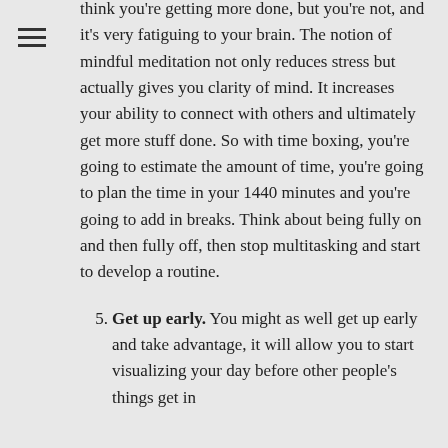think you're getting more done, but you're not, and it's very fatiguing to your brain. The notion of mindful meditation not only reduces stress but actually gives you clarity of mind. It increases your ability to connect with others and ultimately get more stuff done. So with time boxing, you're going to estimate the amount of time, you're going to plan the time in your 1440 minutes and you're going to add in breaks. Think about being fully on and then fully off, then stop multitasking and start to develop a routine.
Get up early. You might as well get up early and take advantage, it will allow you to start visualizing your day before other people's things get in